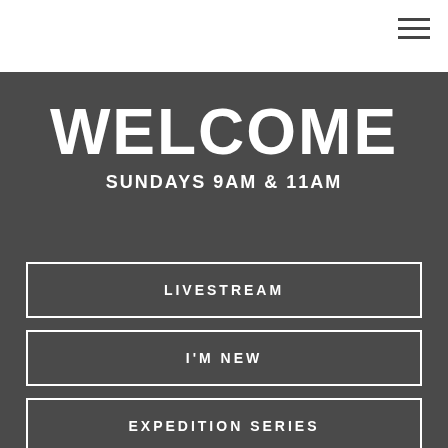[Figure (other): Hamburger menu icon (three horizontal lines) in top-right corner of white header bar]
WELCOME
SUNDAYS 9AM & 11AM
LIVESTREAM
I'M NEW
EXPEDITION SERIES